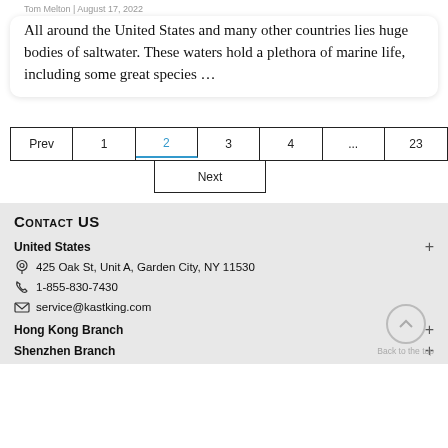Tom Melton | August 17, 2022
All around the United States and many other countries lies huge bodies of saltwater. These waters hold a plethora of marine life, including some great species …
[Figure (other): Pagination control with buttons: Prev, 1, 2 (active/highlighted in blue), 3, 4, ..., 23, and a Next button below]
Contact US
United States
425 Oak St, Unit A, Garden City, NY 11530
1-855-830-7430
service@kastking.com
Hong Kong Branch
Shenzhen Branch